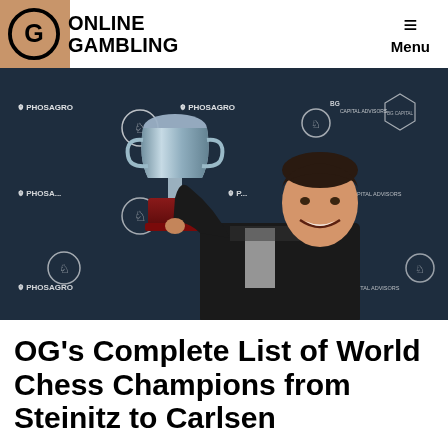ONLINE GAMBLING | Menu
[Figure (photo): Magnus Carlsen holding up a large silver trophy with a red wooden base, standing in front of a backdrop with PHOSAGRO and BG Capital Advisors sponsor logos and World Chess Championship branding]
OG's Complete List of World Chess Champions from Steinitz to Carlsen